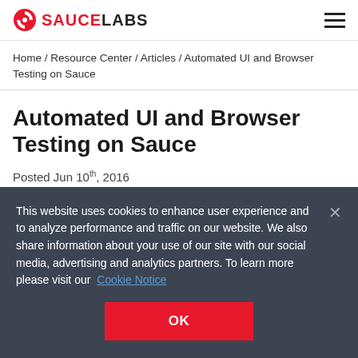SAUCE LABS (logo with hamburger menu)
Home / Resource Center / Articles / Automated UI and Browser Testing on Sauce
Automated UI and Browser Testing on Sauce
Posted Jun 10th, 2016
This website uses cookies to enhance user experience and to analyze performance and traffic on our website. We also share information about your use of our site with our social media, advertising and analytics partners. To learn more please visit our  Cookie Notice
OK